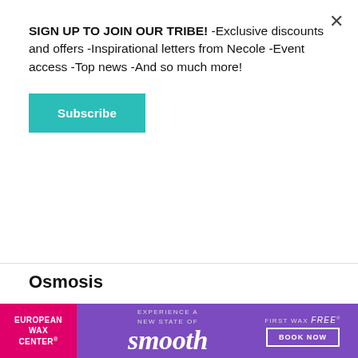SIGN UP TO JOIN OUR TRIBE! -Exclusive discounts and offers -Inspirational letters from Necole -Event access -Top news -And so much more!
Subscribe
Osmosis
[Figure (photo): Close-up photo of a Black woman with glowing skin, wearing large silver hoop earrings and a small stud earring, smiling slightly]
[Figure (infographic): European Wax Center advertisement banner: pink left panel with 'EUROPEAN WAX CENTER', purple center with 'EXPERIENCE A NEW STATE OF smooth', right side 'FIRST WAX free BOOK NOW']